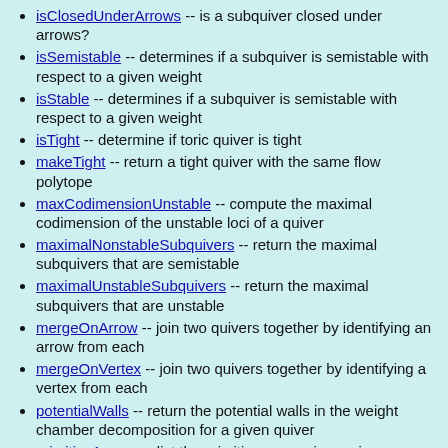isClosedUnderArrows -- is a subquiver closed under arrows?
isSemistable -- determines if a subquiver is semistable with respect to a given weight
isStable -- determines if a subquiver is semistable with respect to a given weight
isTight -- determine if toric quiver is tight
makeTight -- return a tight quiver with the same flow polytope
maxCodimensionUnstable -- compute the maximal codimension of the unstable loci of a quiver
maximalNonstableSubquivers -- return the maximal subquivers that are semistable
maximalUnstableSubquivers -- return the maximal subquivers that are unstable
mergeOnArrow -- join two quivers together by identifying an arrow from each
mergeOnVertex -- join two quivers together by identifying a vertex from each
potentialWalls -- return the potential walls in the weight chamber decomposition for a given quiver
primitiveArrows -- list the primitive arrows in a quiver
quiverEdges -- return the graph edges associated to the toric quiver